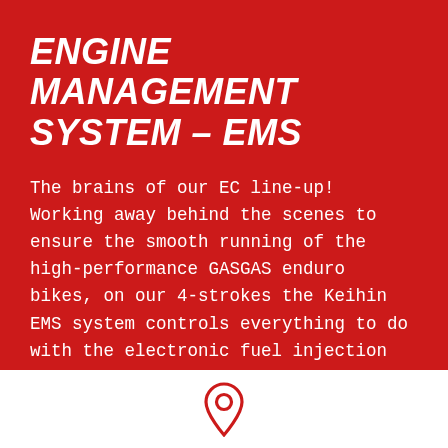ENGINE MANAGEMENT SYSTEM – EMS
The brains of our EC line-up! Working away behind the scenes to ensure the smooth running of the high-performance GASGAS enduro bikes, on our 4-strokes the Keihin EMS system controls everything to do with the electronic fuel injection system as well as featuring a gear sensor, that tailors power delivery for each gear.
[Figure (illustration): A red location pin / map marker icon centered in the white footer area.]